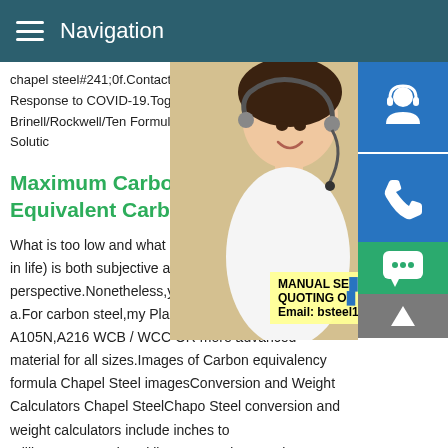Navigation
chapel steel#241;0f.Contact CHAPEL STE Info.Our Response to COVID-19.Toggle n Equivalency Formula Brinell/Rockwell/Ten Formula.CHAPEL STEEL Dynamic Solutic
Maximum Carbon Content an Equivalent Carbon
What is too low and what is too much (Ca other things in life) is both subjective and perspective.Nonetheless,your summary fr correct a.For carbon steel,my Plant's pipeline only uses ASTM A105N,A216 WCB / WCC OR more advanced material for all sizes.Images of Carbon equivalency formula Chapel Steel imagesConversion and Weight Calculators Chapel SteelChapa Steel conversion and weight calculators include inches to millimeters,pounds to kilograms and more.About CHAPEL
[Figure (photo): Customer service representative woman with headset, smiling]
[Figure (infographic): Sidebar icons: customer support headset, phone, Skype logo; yellow overlay with MANUAL SE... QUOTING O... Email: bsteel1@163.com; green chat bubble button; grey up-arrow button]